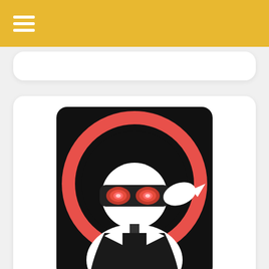[Figure (illustration): App icon for Bombthrower: a suited figure with a blindfold/goggles with glowing red eyes, set against a black circular background with a red ring]
Bombthrower
[Figure (illustration): Partial view of a logo with tree/branch patterns in black and blue, partially visible at the bottom of the page]